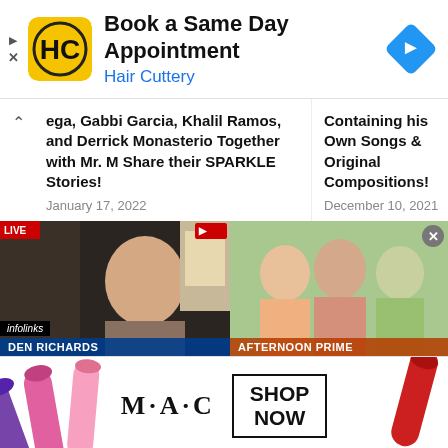[Figure (screenshot): Hair Cuttery advertisement banner with logo, title 'Book a Same Day Appointment', subtitle 'Hair Cuttery' in blue, and a blue navigation diamond icon]
ega, Gabbi Garcia, Khalil Ramos, and Derrick Monasterio Together with Mr. M Share their SPARKLE Stories!
January 17, 2022
Containing his Own Songs & Original Compositions!
December 10, 2021
[Figure (screenshot): Thumbnail of DEN RICHARDS video with infolinks badge]
[Figure (screenshot): Thumbnail labeled AFTERNOON PRIME showing three women]
[Figure (screenshot): MAC cosmetics advertisement banner with lipsticks and SHOP NOW button]